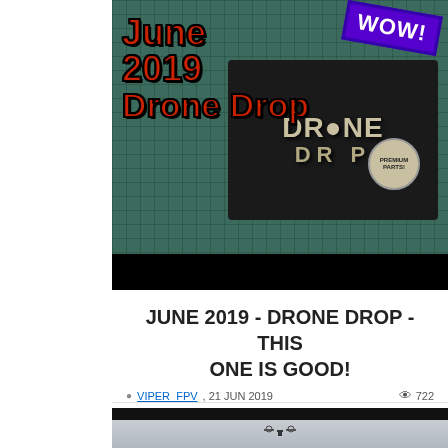[Figure (photo): Photo of a Drone Drop subscription box with 'June 2019 Drone Drop' text overlay in red with black outline, 'WOW!' sticker in purple top right, on a green cutting mat background.]
JUNE 2019 - DRONE DROP - THIS ONE IS GOOD!
VIPER_FPV, 21 JUN 2019   722
[Figure (photo): Photo of a drone flying in a grey sky, shown partially at bottom of page.]